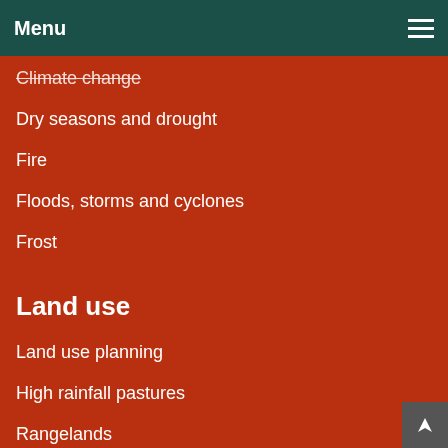Menu
Climate change
Dry seasons and drought
Fire
Floods, storms and cyclones
Frost
Land use
Land use planning
High rainfall pastures
Rangelands
Carbon farming
Small landholders in Western Australia
Water
Water management